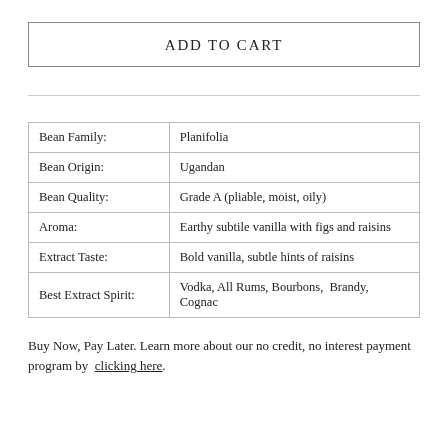ADD TO CART
| Bean Family: | Planifolia |
| Bean Origin: | Ugandan |
| Bean Quality: | Grade A (pliable, moist, oily) |
| Aroma: | Earthy subtile vanilla with figs and raisins |
| Extract Taste: | Bold vanilla, subtle hints of raisins |
| Best Extract Spirit: | Vodka, All Rums, Bourbons,  Brandy, Cognac |
Buy Now, Pay Later. Learn more about our no credit, no interest payment program by clicking here.